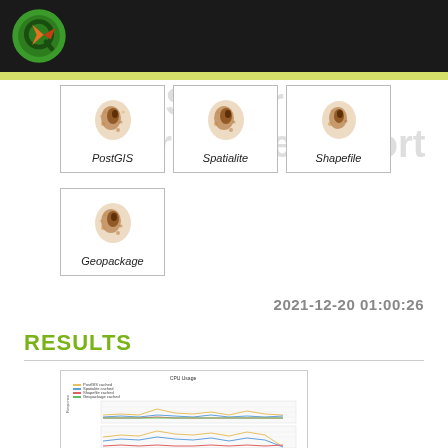QGIS Server Performance Report
[Figure (illustration): QGIS logo on dark header bar]
QGIS Server
Performance Report
[Figure (illustration): PostGIS data source icon - brown geographic cluster image in white box, labeled PostGIS]
[Figure (illustration): Spatialite data source icon - brown geographic cluster image in white box, labeled Spatialite]
[Figure (illustration): Shapefile data source icon - brown geographic cluster image in white box, labeled Shapefile]
[Figure (illustration): Geopackage data source icon - brown geographic cluster image in white box, labeled Geopackage]
2021-12-20 01:00:26
RESULTS
[Figure (line-chart): Multi-line performance chart thumbnail showing response time measurements for different data sources over time]